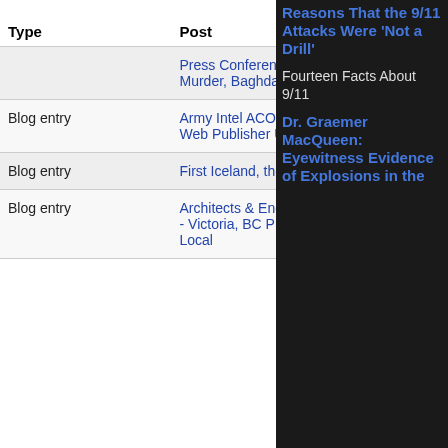| Type | Post | Author | Replies | Last updated |
| --- | --- | --- | --- | --- |
|  | Press Conference - "Collateral Murder, Baghdad July 12, 2007" |  |  |  |
| Blog entry | Army Intel ACORNing WikiLeaks? Web Publisher Under Attack | MichaelCollins | 6 |  |
| Blog entry | First Iceland, then the World | MichaelCollins | 0 |  |
| Blog entry | Architects & Engineers for 9/11 Truth - Victoria, BC Press Conference gets Local | ae911truth | 9 |  |
Reasons That the 9/11 Attacks Were 'Not a Drill'
Fourteen Facts About 9/11
Dr. Graeme MacQueen: Eyewitness Evidence of Explosions in the